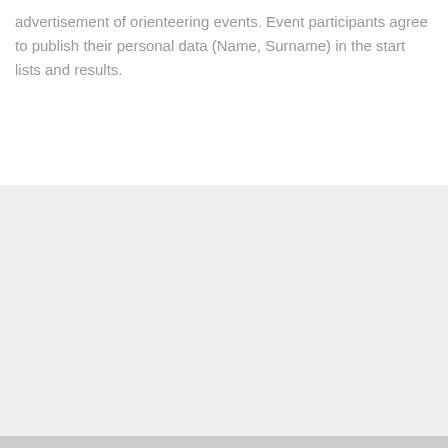advertisement of orienteering events. Event participants agree to publish their personal data (Name, Surname) in the start lists and results.
SEKO MUMS:
OK KĀPA, FACEBOOK